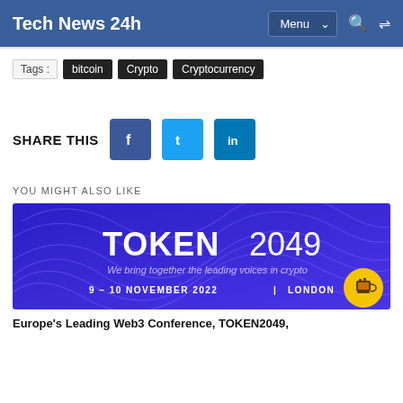Tech News 24h
Tags : bitcoin  Crypto  Cryptocurrency
SHARE THIS
YOU MIGHT ALSO LIKE
[Figure (illustration): TOKEN2049 conference banner: blue/purple background with decorative wave lines, large white text 'TOKEN 2049', subtitle 'We bring together the leading voices in crypto', date '9 - 10 NOVEMBER 2022 | LONDON', yellow circular button with coffee cup icon bottom right]
Europe's Leading Web3 Conference, TOKEN2049,